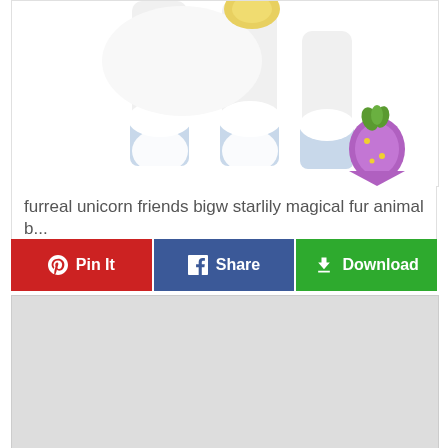[Figure (photo): Close-up photo of a FurReal unicorn toy legs with white fur and blue hooves, with a small purple glitter strawberry accessory toy beside it, on a white background.]
furreal unicorn friends bigw starlily magical fur animal b...
[Figure (screenshot): Three action buttons: red 'Pin It' with Pinterest logo, blue 'Share' with Facebook logo, green 'Download' with download icon.]
[Figure (other): Gray rectangular placeholder area, likely an advertisement or additional content area.]